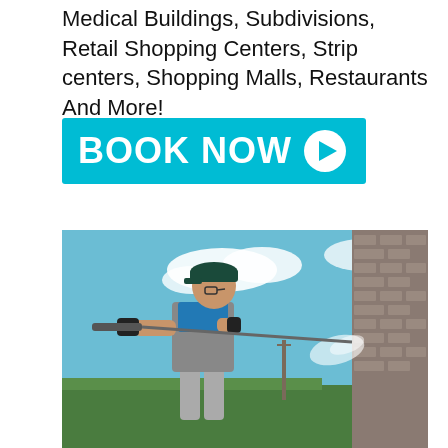Medical Buildings, Subdivisions, Retail Shopping Centers, Strip centers, Shopping Malls, Restaurants And More!
[Figure (other): Cyan/teal 'BOOK NOW' button with arrow icon]
[Figure (photo): A worker in blue shirt, gray overalls, and dark cap using a pressure washer to clean a brick wall outdoors. Blue sky with clouds in the background, green trees visible.]